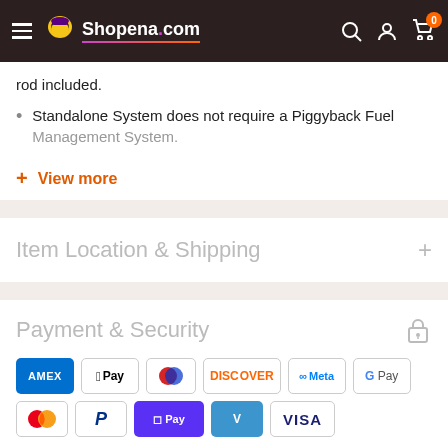Shopena.com
rod included.
Standalone System does not require a Piggyback Fuel Management System.
+ View more
Item Location & Shipping
Payment & Security
[Figure (other): Payment method icons: AMEX, Apple Pay, Diners Club, Discover, Meta Pay, Google Pay, Mastercard, PayPal, Shop Pay, Venmo, Visa]